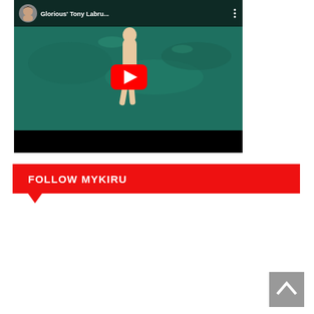[Figure (screenshot): YouTube video thumbnail showing a person swimming underwater in teal water, wearing red shorts. The video title reads 'Glorious' Tony Labru...' with a channel avatar and three-dot menu. A red YouTube play button is centered on the thumbnail. The bottom has a black progress bar.]
FOLLOW MYKIRU
[Figure (other): Back to top button - grey square with upward pointing chevron arrow]